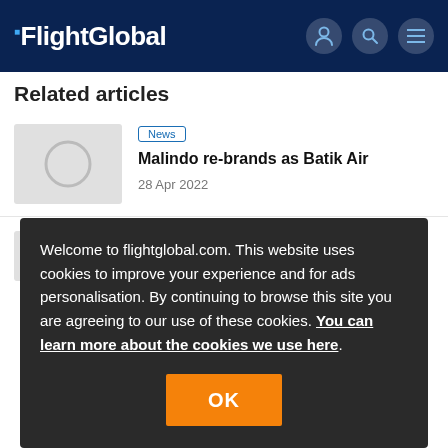FlightGlobal
Related articles
[Figure (photo): Placeholder thumbnail image with circle icon]
News
Malindo re-brands as Batik Air
28 Apr 2022
Welcome to flightglobal.com. This website uses cookies to improve your experience and for ads personalisation. By continuing to browse this site you are agreeing to our use of these cookies. You can learn more about the cookies we use here.
OK
Toar
3 May 2021